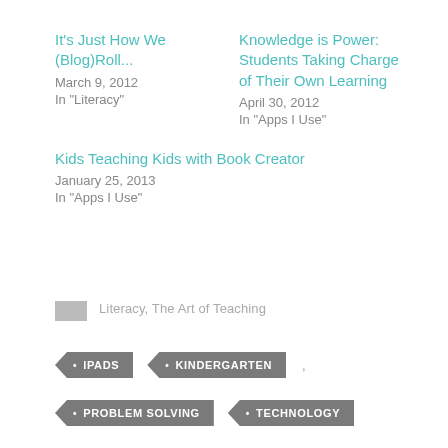It's Just How We (Blog)Roll...
March 9, 2012
In "Literacy"
Knowledge is Power: Students Taking Charge of Their Own Learning
April 30, 2012
In "Apps I Use"
Kids Teaching Kids with Book Creator
January 25, 2013
In "Apps I Use"
Literacy, The Art of Teaching
IPADS
KINDERGARTEN
PROBLEM SOLVING
TECHNOLOGY